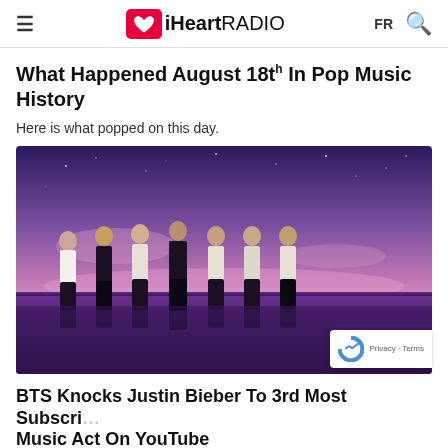iHeartRADIO — FR
What Happened August 18th In Pop Music History
Here is what popped on this day.
[Figure (photo): BTS — seven male K-pop artists standing in a row on a reflective surface under a purple/pink twilight sky with stars]
BTS Knocks Justin Bieber To 3rd Most Subscribed Music Act On YouTube